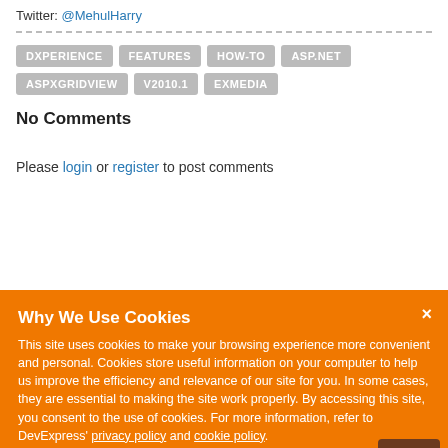Twitter: @MehulHarry
DXPERIENCE
FEATURES
HOW-TO
ASP.NET
ASPXGRIDVIEW
V2010.1
EXMEDIA
No Comments
Please login or register to post comments
Why We Use Cookies
This site uses cookies to make your browsing experience more convenient and personal. Cookies store useful information on your computer to help us improve the efficiency and relevance of our site for you. In some cases, they are essential to making the site work properly. By accessing this site, you consent to the use of cookies. For more information, refer to DevExpress' privacy policy and cookie policy.
I UNDERSTAND